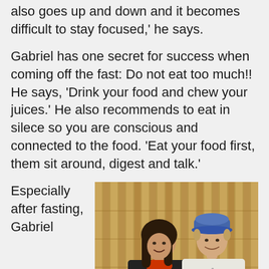also goes up and down and it becomes difficult to stay focused,' he says.
Gabriel has one secret for success when coming off the fast: Do not eat too much!! He says, 'Drink your food and chew your juices.' He also recommends to eat in silece so you are conscious and connected to the food. 'Eat your food first, them sit around, digest and talk.'
Especially after fasting, Gabriel
[Figure (photo): Two people standing together smiling in front of a bamboo background. The woman on the left has long dark hair and is wearing a black jacket with a red scarf. The man on the right is wearing a white shirt and a blue hat.]